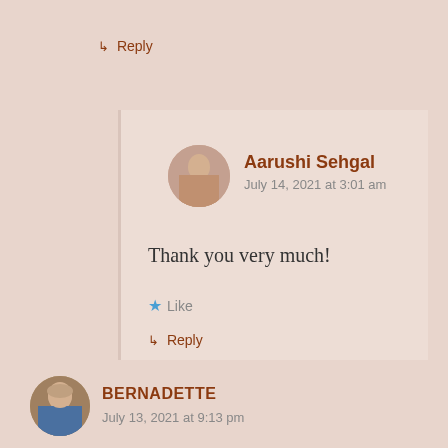↳ Reply
[Figure (photo): Circular avatar of Aarushi Sehgal, a young woman]
Aarushi Sehgal
July 14, 2021 at 3:01 am
Thank you very much!
★ Like
↳ Reply
[Figure (photo): Circular avatar of Bernadette, an older woman]
BERNADETTE
July 13, 2021 at 9:13 pm